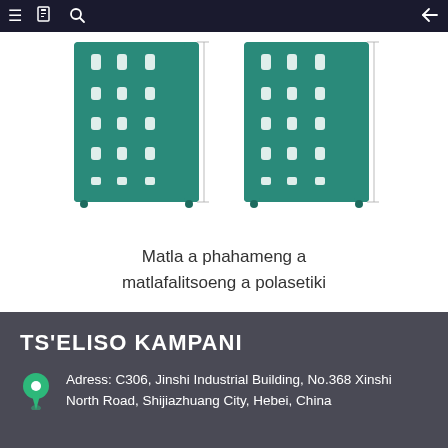Navigation bar with menu, bookmark, search icons and back arrow
[Figure (photo): Two green reinforced plastic panels/grates with slatted openings, shown side by side on a white background]
Matla a phahameng a matlafalitsoeng a polasetiki
TS'ELISO KAMPANI
Adress: C306, Jinshi Industrial Building, No.368 Xinshi North Road, Shijiazhuang City, Hebei, China